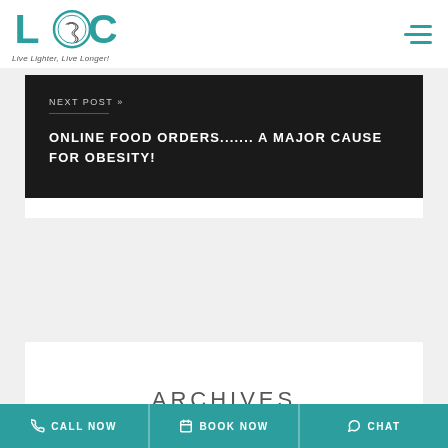LOC - Live Lighter, Live Longer!
NEXT POST »
ONLINE FOOD ORDERS....... A MAJOR CAUSE FOR OBESITY!
ARCHIVES
CALL NOW | BOOK NOW | CHAT